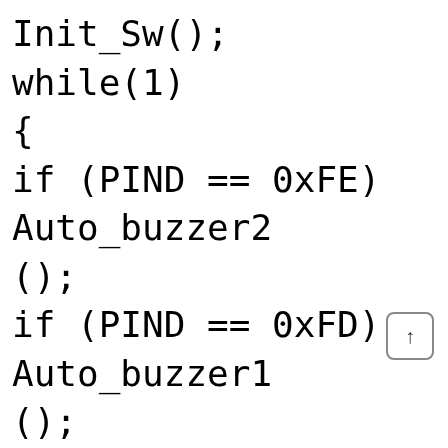Init_Sw();
while(1)
{
if (PIND == 0xFE) Auto_buzzer2();
if (PIND == 0xFD) Auto_buzzer1();
if (PINB == 0xFE) PORTC = 0xFE, DO(1000), LDelay(10), PORTC = 0xFF;